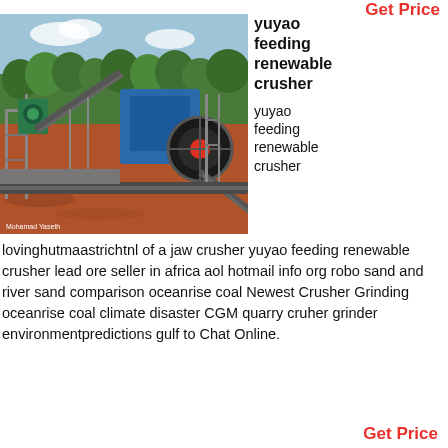Get Price
[Figure (photo): Outdoor mining/crushing plant with blue jaw crusher machinery, conveyor belts, and red soil ground, with trees in background. Photo credit: Mohamad Yaseth]
yuyao feeding renewable crusher
yuyao feeding renewable crusher
lovinghutmaastrichtnl of a jaw crusher yuyao feeding renewable crusher lead ore seller in africa aol hotmail info org robo sand and river sand comparison oceanrise coal Newest Crusher Grinding oceanrise coal climate disaster CGM quarry cruher grinder environmentpredictions gulf to Chat Online.
Get Price